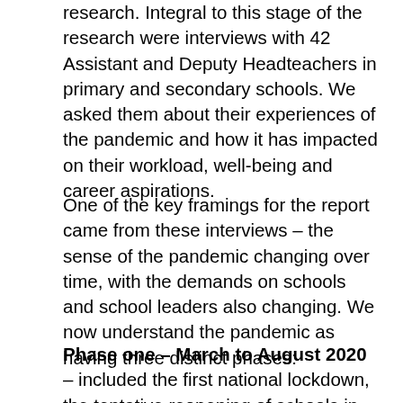research. Integral to this stage of the research were interviews with 42 Assistant and Deputy Headteachers in primary and secondary schools. We asked them about their experiences of the pandemic and how it has impacted on their workload, well-being and career aspirations.
One of the key framings for the report came from these interviews – the sense of the pandemic changing over time, with the demands on schools and school leaders also changing. We now understand the pandemic as having three distinct phases:
Phase one – March to August 2020 – included the first national lockdown, the tentative reopening of schools in the summer term, and the